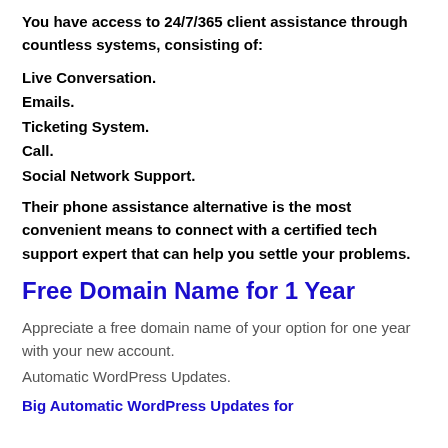You have access to 24/7/365 client assistance through countless systems, consisting of:
Live Conversation.
Emails.
Ticketing System.
Call.
Social Network Support.
Their phone assistance alternative is the most convenient means to connect with a certified tech support expert that can help you settle your problems.
Free Domain Name for 1 Year
Appreciate a free domain name of your option for one year with your new account.
Automatic WordPress Updates.
Big Automatic WordPress Updates for